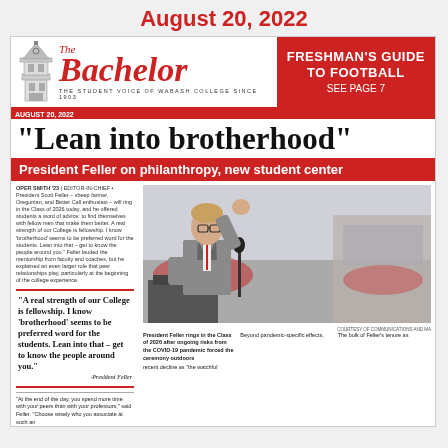August 20, 2022
[Figure (logo): The Bachelor newspaper masthead with bell tower illustration, red cursive logo reading 'The Bachelor', tagline 'THE STUDENT VOICE OF WABASH COLLEGE SINCE 1903', and red box reading 'FRESHMAN'S GUIDE TO FOOTBALL SEE PAGE 7']
“Lean into brotherhood”
President Feller on philanthropy, new student center
OPER SMITH '23 | EDITOR-IN-CHIEF • President Scott Feller – sheep farmer, Oregonian, and Better Call enthusiast – will ring in the Class of 2026 today, and he offered students a word of advice: to find themselves with fellow men that make them better. "A real strength of our College is fellowship. I know 'brotherhood' seems to be preferred word for the students. Lean into that – get to know the people around you." Feller lauded the mentorship from faculty and coaches, but he explained an even larger role that peer relationships play, particularly at the beginning of the college experience.
“A real strength of our College is fellowship. I know ‘brotherhood’ seems to be preferred word for the students. Lean into that – get to know the people around you.”
–President Feller
"At the end of the day, you spend more time with your peers than with your professors," said Feller. "Choose wisely who you associate at such an
[Figure (photo): President Feller rings in the Class of 2026 at an outdoor ceremony, speaking at a podium and raising his fist, wearing a grey suit and red tie]
President Feller rings in the Class of 2026 after ongoing risks from the COVID-19 pandemic forced the ceremony outdoors
recent decline as "the watchful
Beyond pandemic-specific effects,
The bulk of Feller's tenure as